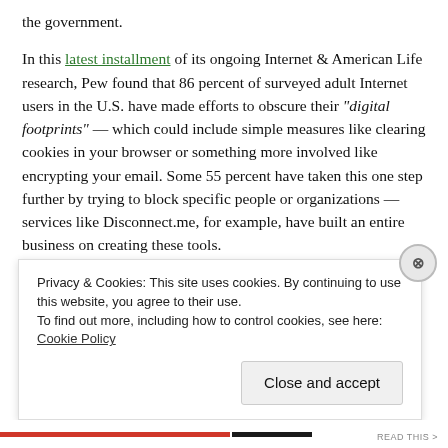the government.
In this latest installment of its ongoing Internet & American Life research, Pew found that 86 percent of surveyed adult Internet users in the U.S. have made efforts to obscure their "digital footprints" — which could include simple measures like clearing cookies in your browser or something more involved like encrypting your email. Some 55 percent have taken this one step further by trying to block specific people or organizations — services like Disconnect.me, for example, have built an entire business on creating these tools.
But it is a sign of just how nebulous and pervasive privacy
Privacy & Cookies: This site uses cookies. By continuing to use this website, you agree to their use.
To find out more, including how to control cookies, see here: Cookie Policy